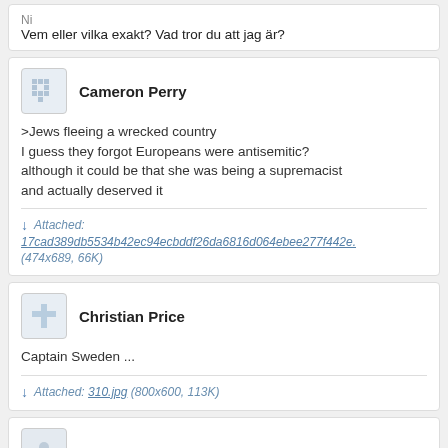Ni
Vem eller vilka exakt? Vad tror du att jag är?
Cameron Perry
>Jews fleeing a wrecked country
I guess they forgot Europeans were antisemitic? although it could be that she was being a supremacist and actually deserved it
Attached: 17cad389db5534b42ec94ecbddf26da6816d064ebee277f442e. (474x689, 66K)
Christian Price
Captain Sweden ...
Attached: 310.jpg (800x600, 113K)